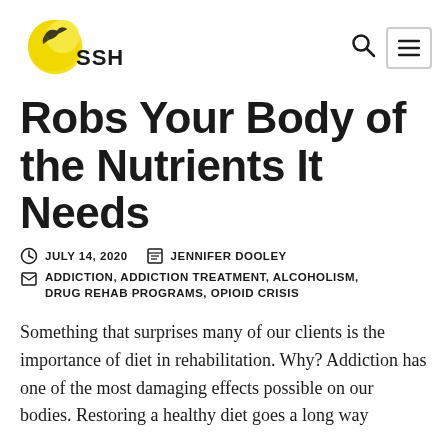SSH
Robs Your Body of the Nutrients It Needs
JULY 14, 2020   JENNIFER DOOLEY   ADDICTION, ADDICTION TREATMENT, ALCOHOLISM, DRUG REHAB PROGRAMS, OPIOID CRISIS
Something that surprises many of our clients is the importance of diet in rehabilitation. Why? Addiction has one of the most damaging effects possible on our bodies. Restoring a healthy diet goes a long way